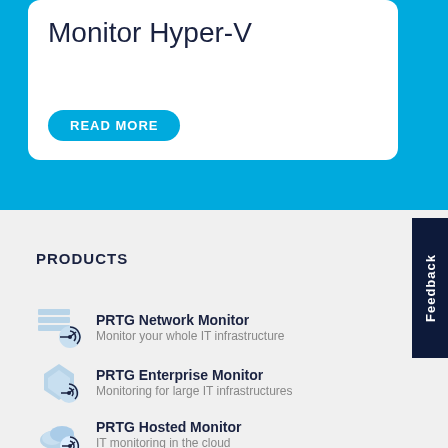Monitor Hyper-V
READ MORE
PRODUCTS
PRTG Network Monitor — Monitor your whole IT infrastructure
PRTG Enterprise Monitor — Monitoring for large IT infrastructures
PRTG Hosted Monitor — IT monitoring in the cloud